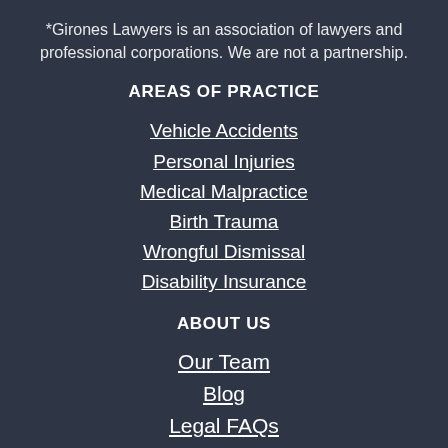*Girones Lawyers is an association of lawyers and professional corporations. We are not a partnership.
AREAS OF PRACTICE
Vehicle Accidents
Personal Injuries
Medical Malpractice
Birth Trauma
Wrongful Dismissal
Disability Insurance
ABOUT US
Our Team
Blog
Legal FAQs
Testimonials
Videos
Case Results